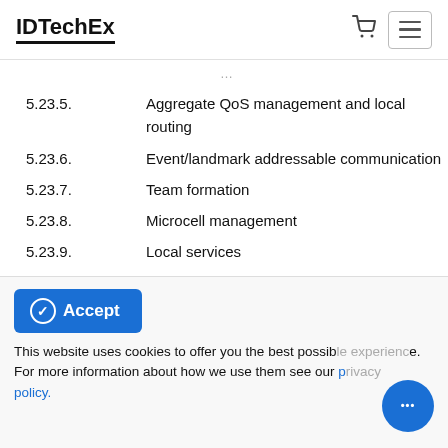IDTechEx
5.23.5.	Aggregate QoS management and local routing
5.23.6.	Event/landmark addressable communication
5.23.7.	Team formation
5.23.8.	Microcell management
5.23.9.	Local services
5.23.10.	Information caching
5.23.11.	Clock synchronization and group membership
5.23.12.	Distributed control and location services
5.23.13.	Testing tools and monitoring services
5.23.14.	Software release: VigilNet
5.24.	Wavenis and Essensium
Accept
This website uses cookies to offer you the best possible experience. For more information about how we use them see our privacy policy.